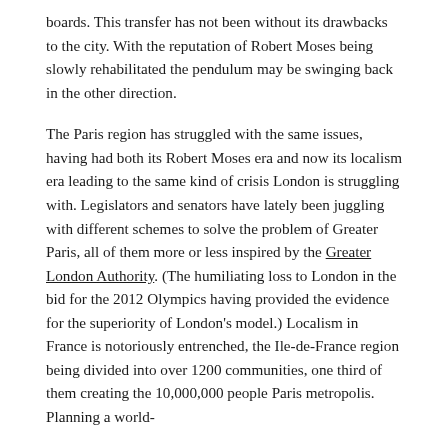boards. This transfer has not been without its drawbacks to the city. With the reputation of Robert Moses being slowly rehabilitated the pendulum may be swinging back in the other direction.
The Paris region has struggled with the same issues, having had both its Robert Moses era and now its localism era leading to the same kind of crisis London is struggling with. Legislators and senators have lately been juggling with different schemes to solve the problem of Greater Paris, all of them more or less inspired by the Greater London Authority. (The humiliating loss to London in the bid for the 2012 Olympics having provided the evidence for the superiority of London's model.) Localism in France is notoriously entrenched, the Ile-de-France region being divided into over 1200 communities, one third of them creating the 10,000,000 people Paris metropolis. Planning a world-